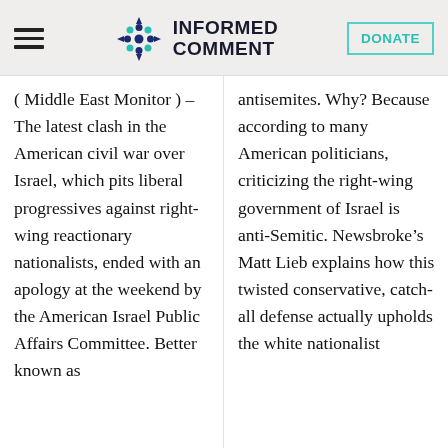Informed Comment
( Middle East Monitor ) – The latest clash in the American civil war over Israel, which pits liberal progressives against right-wing reactionary nationalists, ended with an apology at the weekend by the American Israel Public Affairs Committee. Better known as
antisemites. Why? Because according to many American politicians, criticizing the right-wing government of Israel is anti-Semitic. Newsbroke’s Matt Lieb explains how this twisted conservative, catch-all defense actually upholds the white nationalist